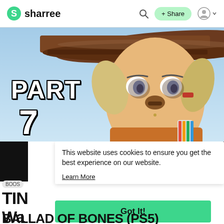sharree
[Figure (illustration): Animated character with a wide-brim hat wearing colorful armor, cel-shaded art style. Text overlay reads PART 7.]
This website uses cookies to ensure you get the best experience on our website.
Learn More
BOOS
TIN
Wa
BALLAD OF BONES (PS5)
Got It!